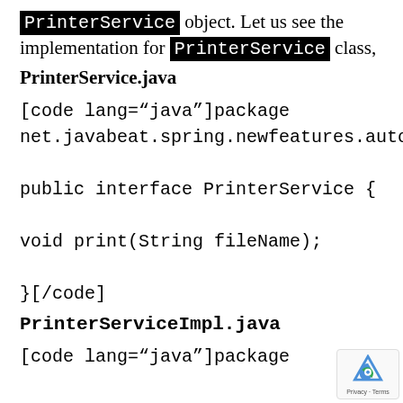PrinterService object. Let us see the implementation for PrinterService class,
PrinterService.java
[code lang="java"]package net.javabeat.spring.newfeatures.autowire;

public interface PrinterService {

void print(String fileName);

}[/code]
PrinterServiceImpl.java
[code lang="java"]package